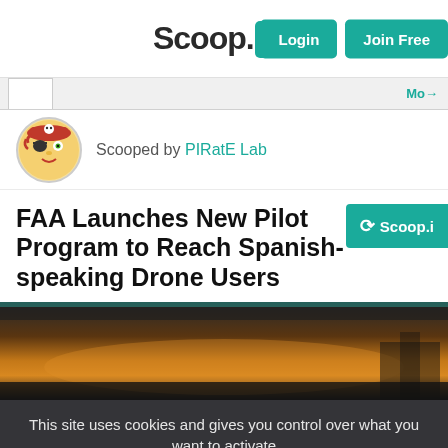Scoop.it! | Login | Join Free
Scooped by PIRatE Lab
FAA Launches New Pilot Program to Reach Spanish-speaking Drone Users
[Figure (photo): Aerial/drone photograph with sunset lighting, dark silhouette tones]
This site uses cookies and gives you control over what you want to activate
✓ OK, accept all | ✗ Deny all cookies | Personalize
Privacy policy